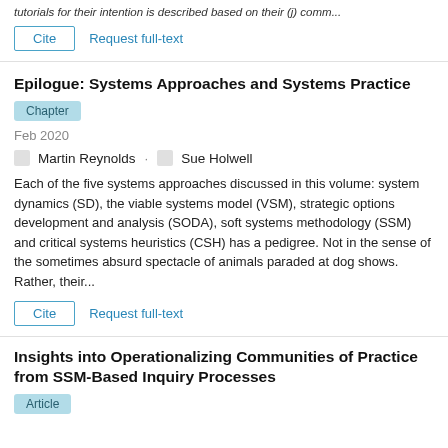tutorials for their intention is described based on their (j) comm...
Cite | Request full-text
Epilogue: Systems Approaches and Systems Practice
Chapter
Feb 2020
Martin Reynolds · Sue Holwell
Each of the five systems approaches discussed in this volume: system dynamics (SD), the viable systems model (VSM), strategic options development and analysis (SODA), soft systems methodology (SSM) and critical systems heuristics (CSH) has a pedigree. Not in the sense of the sometimes absurd spectacle of animals paraded at dog shows. Rather, their...
Cite | Request full-text
Insights into Operationalizing Communities of Practice from SSM-Based Inquiry Processes
Article